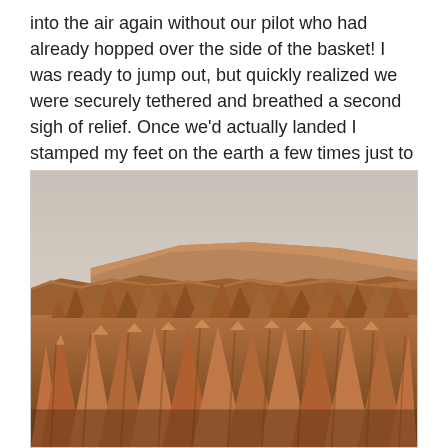into the air again without our pilot who had already hopped over the side of the basket!  I was ready to jump out, but quickly realized we were securely tethered and breathed a second sigh of relief.  Once we'd actually landed I stamped my feet on the earth a few times just to make sure!
[Figure (photo): Aerial or elevated view of the Cappadocia landscape in Turkey showing dramatic rocky hoodoo formations (fairy chimneys) in warm orange and brown tones under a pale hazy sky, with a flat-topped mesa visible in the background.]